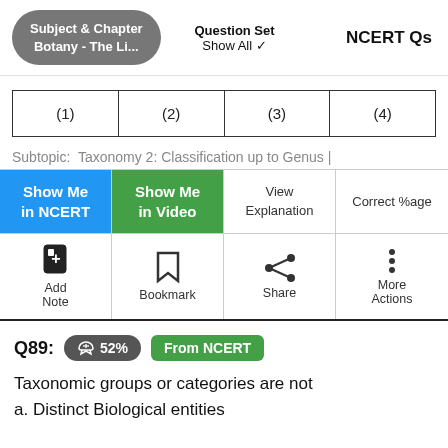Subject & Chapter: Botany - The Li... | Question Set: Show All | NCERT Qs
| (1) | (2) | (3) | (4) |
| --- | --- | --- | --- |
Subtopic:  Taxonomy 2: Classification up to Genus |
Show Me in NCERT | Show Me in Video | View Explanation | Correct %age
Add Note | Bookmark | Share | More Actions
Q89:
52%
From NCERT
Taxonomic groups or categories are not
a. Distinct Biological entities